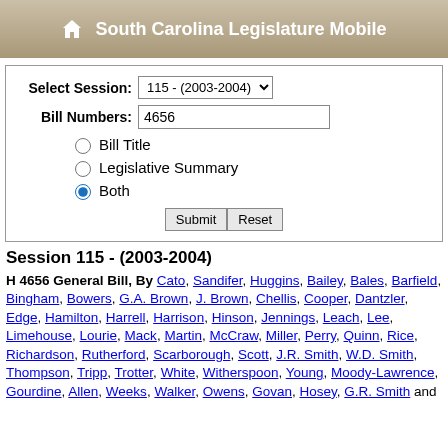South Carolina Legislature Mobile
Select Session: 115 - (2003-2004) | Bill Numbers: 4656 | Bill Title | Legislative Summary | Both | Submit | Reset
Session 115 - (2003-2004)
H 4656 General Bill, By Cato, Sandifer, Huggins, Bailey, Bales, Barfield, Bingham, Bowers, G.A. Brown, J. Brown, Chellis, Cooper, Dantzler, Edge, Hamilton, Harrell, Harrison, Hinson, Jennings, Leach, Lee, Limehouse, Lourie, Mack, Martin, McCraw, Miller, Perry, Quinn, Rice, Richardson, Rutherford, Scarborough, Scott, J.R. Smith, W.D. Smith, Thompson, Tripp, Trotter, White, Witherspoon, Young, Moody-Lawrence, Gourdine, Allen, Weeks, Walker, Owens, Govan, Hosey, G.R. Smith and